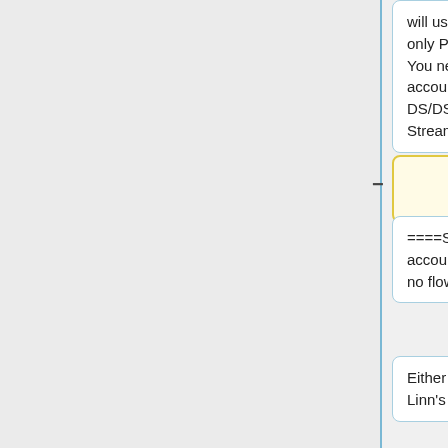will usually find that this will only Play one track and Stop. You need to have a Family account to Play on  Linn DS/DSM, Kustom DSM Streamers & Tidal Apps
will usually find that this will only Play one track and Stop. You need to have a Family account to Play on  Linn DS/DSM, Kustom DSM Streamers & Tidal Apps
<br><br>
====Setting up a Tidal account, I get an error “Sorry, no flowId is set up…". ====
====Setting up a Tidal account, I get an error “Sorry, no flowId is set up…". ====
Either the Tidal service or Linn's voucher codes
Either the Tidal service or Linn's voucher codes